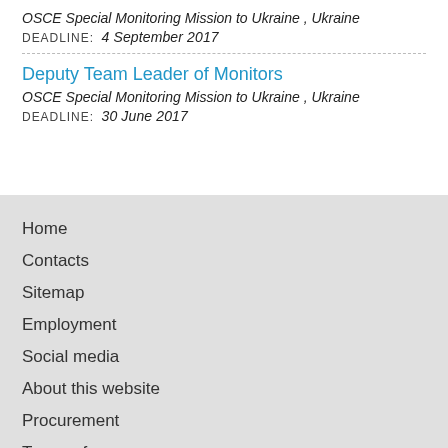OSCE Special Monitoring Mission to Ukraine , Ukraine
DEADLINE: 4 September 2017
Deputy Team Leader of Monitors
OSCE Special Monitoring Mission to Ukraine , Ukraine
DEADLINE: 30 June 2017
Home
Contacts
Sitemap
Employment
Social media
About this website
Procurement
Terms of use